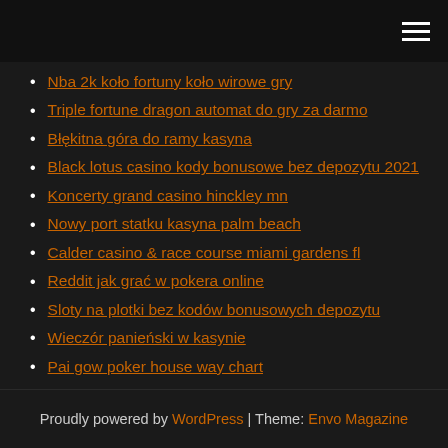[hamburger menu icon]
Nba 2k koło fortuny koło wirowe gry
Triple fortune dragon automat do gry za darmo
Błękitna góra do ramy kasyna
Black lotus casino kody bonusowe bez depozytu 2021
Koncerty grand casino hinckley mn
Nowy port statku kasyna palm beach
Calder casino & race course miami gardens fl
Reddit jak grać w pokera online
Sloty na plotki bez kodów bonusowych depozytu
Wieczór panieński w kasynie
Pai gow poker house way chart
Proudly powered by WordPress | Theme: Envo Magazine